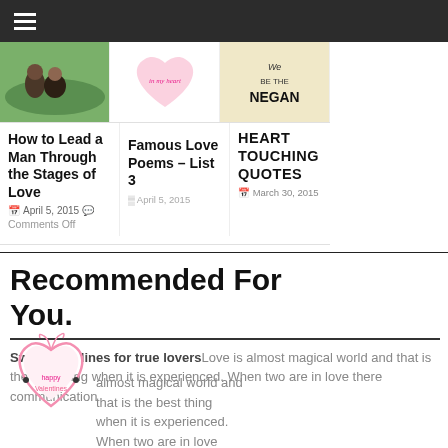Navigation bar with hamburger menu
[Figure (photo): Couple sitting on green grass]
[Figure (illustration): Pink heart with 'in my heart' text]
[Figure (illustration): Beige background with 'We BE THE NEGAN' text]
How to Lead a Man Through the Stages of Love
April 5, 2015   Comments Off
Famous Love Poems – List 3
HEART TOUCHING QUOTES
March 30, 2015
Recommended For You.
Sweet love lines for true loversLove is almost magical world and that is the best thing when it is experienced. When two are in love there communication
[Figure (illustration): Pink heart with 'happy valentines' text]
Gooooogle Se
ENHANCED BY Google
Search